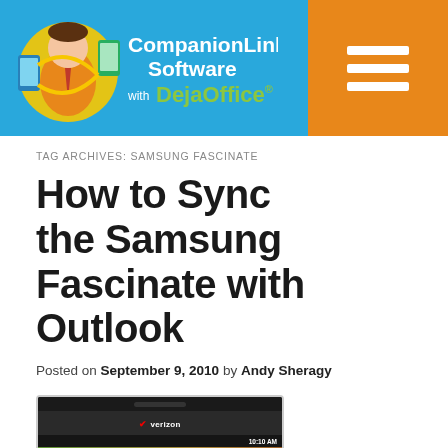[Figure (logo): CompanionLink Software with DejaOffice logo on blue background, with hamburger menu on orange background]
TAG ARCHIVES: SAMSUNG FASCINATE
How to Sync the Samsung Fascinate with Outlook
Posted on September 9, 2010 by Andy Sheragy
[Figure (photo): Samsung Fascinate Android smartphone showing Verizon branding and home screen with 10:10 AM time]